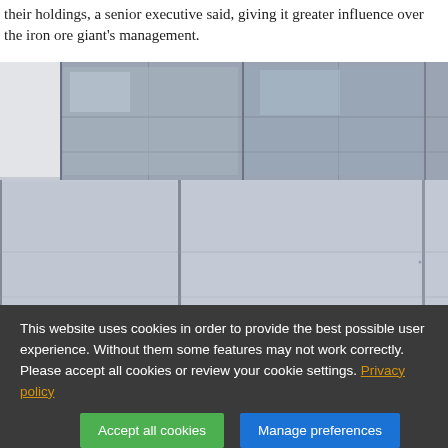their holdings, a senior executive said, giving it greater influence over the iron ore giant's management.
[Figure (photo): Exterior photo of a modern glass and steel building facade, showing reflective panels and structural columns, partially blurred in the upper left corner.]
This website uses cookies in order to provide the best possible user experience. Without them some features may not work correctly. Please accept all cookies or review your cookie settings. Privacy policy
Accept all cookies
Manage preferences